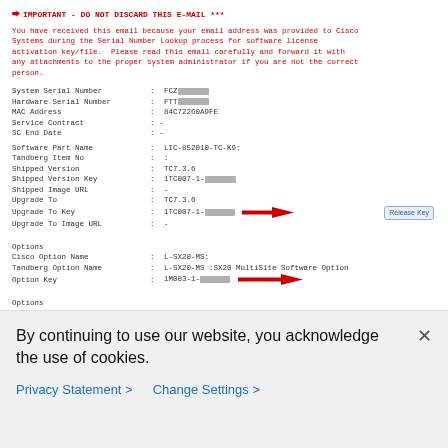IMPORTANT - DO NOT DISCARD THIS E-MAIL ***
You have received this email because your email address was provided to Cisco Systems during the Serial Number Lookup process for software license activation key/file. Please read this email carefully and forward it with any attachments to the proper system administrator if you are not the correct person.
| System Serial Number | : | FCZ[redacted] |
| Hardware Serial Number | : | FTT[redacted] |
| MAC Address | : | 84C72260A9FE |
| Service Contract | : | - |
| SC End Date | : | - |
| Software Part Name | : | LIC-852010-TC-K9: |
| Tandberg Item No | : | : |
| Shipped Version | : | TC7.3.6 |
| Shipped Version Key | : | 1TC007-1-[redacted] |
| Shipped Image URL | : | - |
| Upgrade To | : | TC7.3.6 |
| Upgrade To Key | : | 1TC007-1-[redacted] |
| Upgrade To Image URL | : | - |
Options
| Cisco Option Name | :L-SX20-MS: |
| Tandberg Option Name | :L-SX20-MS :SX20 MultiSite Software Option |
| Option Key | :1M003-1-[redacted] |
Options
| Cisco Option Name | :LIC-SX20-HD: |
| Tandberg Option Name | :LIC-SX20-HD:SX20 License Key for HD |
| Option Key | :1R001-1-[redacted] |
Options
Cisco Option Name    :LIC-SX20-NR2:
By continuing to use our website, you acknowledge the use of cookies.
Privacy Statement >
Change Settings >